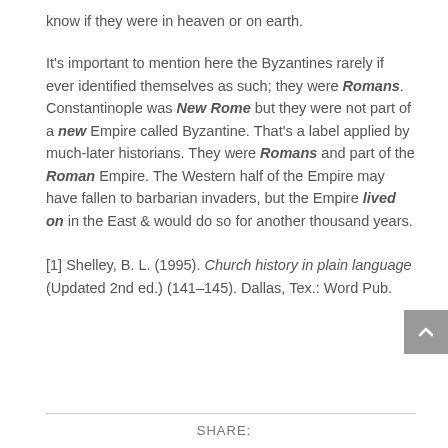know if they were in heaven or on earth.
It's important to mention here the Byzantines rarely if ever identified themselves as such; they were Romans. Constantinople was New Rome but they were not part of a new Empire called Byzantine. That's a label applied by much-later historians. They were Romans and part of the Roman Empire. The Western half of the Empire may have fallen to barbarian invaders, but the Empire lived on in the East & would do so for another thousand years.
[1] Shelley, B. L. (1995). Church history in plain language (Updated 2nd ed.) (141–145). Dallas, Tex.: Word Pub.
SHARE: